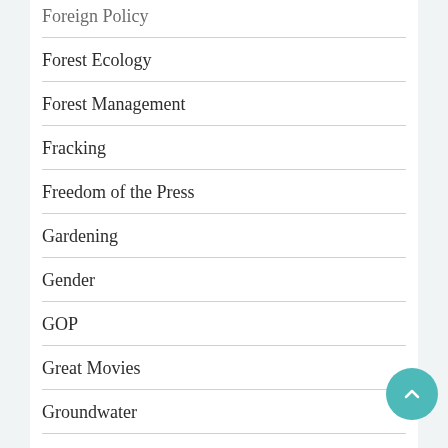Foreign Policy
Forest Ecology
Forest Management
Fracking
Freedom of the Press
Gardening
Gender
GOP
Great Movies
Groundwater
Halloween